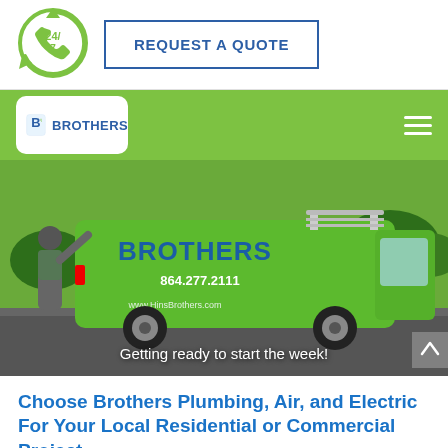[Figure (logo): 24/7 phone circular icon in green]
REQUEST A QUOTE
[Figure (logo): Brothers Plumbing, Air and Electric logo — white rounded square with B icon and 'BROTHERS' text]
[Figure (photo): A worker in green uniform opening the side door of a bright green Brothers branded service van in a parking lot. The van is labeled 'BROTHERS', '864.277.2111', and 'www.HinsBrothers.com'. Caption reads: Getting ready to start the week!]
Getting ready to start the week!
Choose Brothers Plumbing, Air, and Electric For Your Local Residential or Commercial Project